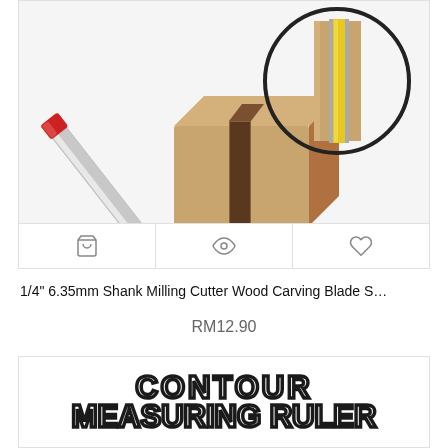[Figure (photo): Product image of a 1/4 inch 6.35mm shank milling cutter wood carving blade. Shows a router bit with red and silver shank on the left, a wood block with a slot cut in it in the center, and a circular close-up diagram showing the blade profile on the right.]
1/4" 6.35mm Shank Milling Cutter Wood Carving Blade S…
RM12.90
[Figure (photo): Product image showing text 'CONTOUR MEASURING RULER' in large bold white letters with black stroke/outline, on a white background.]